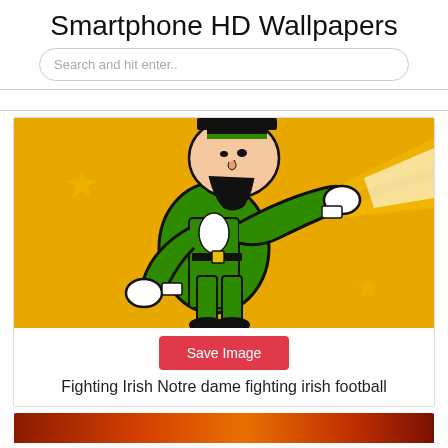Smartphone HD Wallpapers
Search and hit enter..
[Figure (illustration): Fighting Irish Notre Dame leprechaun mascot cartoon illustration on gold/yellow background with white stars and diagonal light rays. The leprechaun is in a fighting stance wearing green jacket and black hat.]
Save Image
Fighting Irish Notre dame fighting irish football
[Figure (photo): Partial view of a second wallpaper thumbnail at the bottom of the page, showing a fiery orange and red image.]